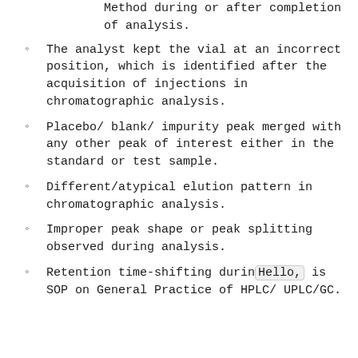Method during or after completion of analysis.
The analyst kept the vial at an incorrect position, which is identified after the acquisition of injections in chromatographic analysis.
Placebo/ blank/ impurity peak merged with any other peak of interest either in the standard or test sample.
Different/atypical elution pattern in chromatographic analysis.
Improper peak shape or peak splitting observed during analysis.
Retention time-shifting during analysis SOP on General Practice of HPLC/ UPLC/GC.